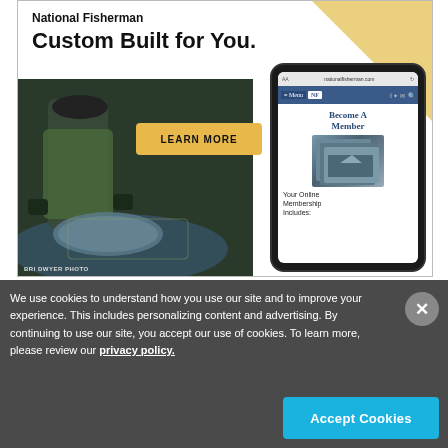[Figure (illustration): National Fisherman advertisement showing a fisherman on deck with a smartphone displaying the NF website. Text reads 'National Fisherman Custom Built for You.' with a 'LEARN MORE' button and phone screenshot showing 'Become A Member' and 'Your Online Membership Includes:'. Photo credit: BRI DWYER PHOTO.]
We use cookies to understand how you use our site and to improve your experience. This includes personalizing content and advertising. By continuing to use our site, you accept our use of cookies. To learn more, please review our privacy policy.
Accept Cookies